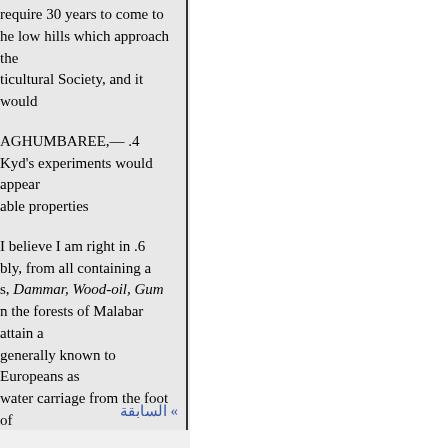require 30 years to come to he low hills which approach the ticultural Society, and it would
4. AGHUMBAREE,—
Kyd's experiments would appear able properties
6. I believe I am right in bly, from all containing a s, Dammar, Wood-oil, Gum n the forests of Malabar attain a generally known to Europeans as water carriage from the foot of e timber for some time to come. t. Baker, the mean weight The tree is found in great of the Himalayas, frequently any other tree. The Calcutta orrukpore. It is undoubtedly a , and indeed for almost all e specific gravity
» السابقة